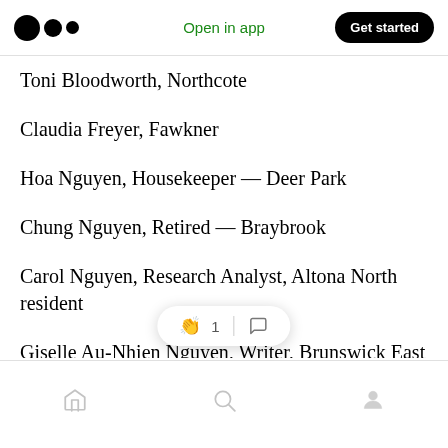Medium logo | Open in app | Get started
Toni Bloodworth, Northcote
Claudia Freyer, Fawkner
Hoa Nguyen, Housekeeper — Deer Park
Chung Nguyen, Retired — Braybrook
Carol Nguyen, Research Analyst, Altona North resident
Giselle Au-Nhien Nguyen, Writer, Brunswick East resident
Home | Search | Profile